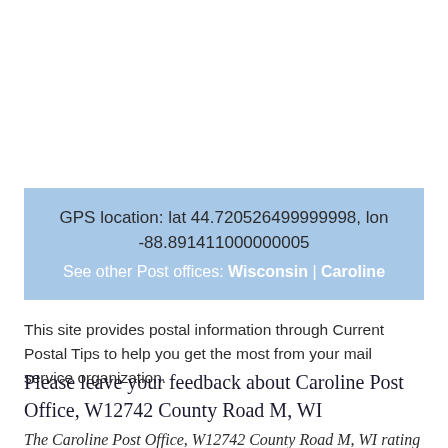GPS location: lat 44.720526499999998, lon -88.891411000000005
See other Post offices: Wisconsin | Caroline
This site provides postal information through Current Postal Tips to help you get the most from your mail service organization.
Please leave your feedback about Caroline Post Office, W12742 County Road M, WI
The Caroline Post Office, W12742 County Road M, WI rating